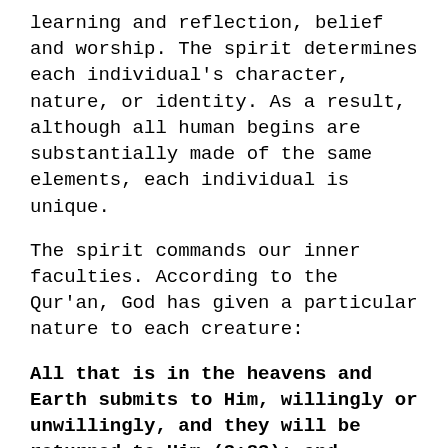learning and reflection, belief and worship. The spirit determines each individual's character, nature, or identity. As a result, although all human begins are substantially made of the same elements, each individual is unique.
The spirit commands our inner faculties. According to the Qur'an, God has given a particular nature to each creature:
All that is in the heavens and Earth submits to Him, willingly or unwillingly, and they will be returned to Him (3:83); and Glorify the Name of your Lord, the Most High, Who has created (all things) and well proportioned (them); Who has assigned for each a particular